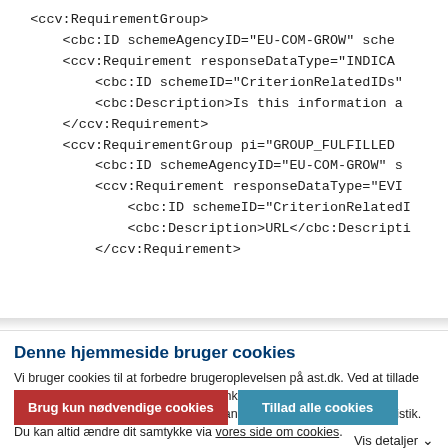[Figure (screenshot): XML code block showing RequirementGroup and Requirement elements with attributes like schemeAgencyID, responseDataType, schemeID, and Description tags.]
Denne hjemmeside bruger cookies
Vi bruger cookies til at forbedre brugeroplevelsen på ast.dk. Ved at tillade alle cookies giver du samtykke til, at Ankestyrelsen samt tredjeparter anvender cookies på hjemmesiden, blandt andet til indsamling af statistik. Du kan altid ændre dit samtykke via vores side om cookies.
Brug kun nødvendige cookies
Tillad alle cookies
Vis detaljer